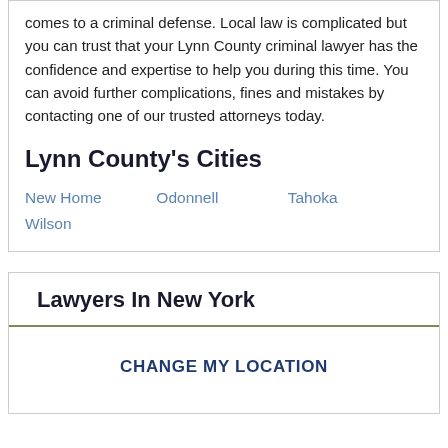comes to a criminal defense. Local law is complicated but you can trust that your Lynn County criminal lawyer has the confidence and expertise to help you during this time. You can avoid further complications, fines and mistakes by contacting one of our trusted attorneys today.
Lynn County's Cities
New Home
Odonnell
Tahoka
Wilson
Lawyers In New York
CHANGE MY LOCATION